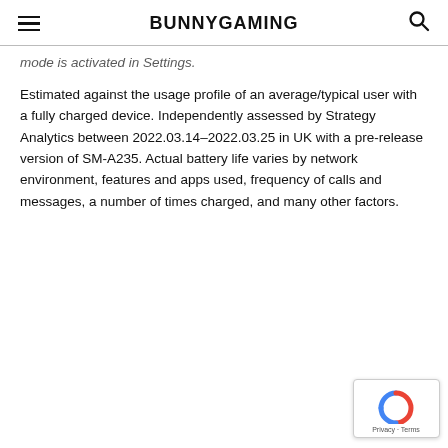BUNNYGAMING
mode is activated in Settings.
Estimated against the usage profile of an average/typical user with a fully charged device. Independently assessed by Strategy Analytics between 2022.03.14–2022.03.25 in UK with a pre-release version of SM-A235. Actual battery life varies by network environment, features and apps used, frequency of calls and messages, a number of times charged, and many other factors.
[Figure (logo): reCAPTCHA badge with Google logo and Privacy - Terms text]